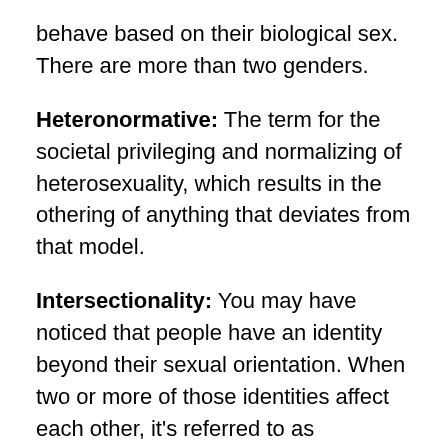behave based on their biological sex. There are more than two genders.
Heteronormative: The term for the societal privileging and normalizing of heterosexuality, which results in the othering of anything that deviates from that model.
Intersectionality: You may have noticed that people have an identity beyond their sexual orientation. When two or more of those identities affect each other, it's referred to as intersectionality. For instance, the intersectionality between being gay and Jewish.
LGBT: Lesbian/Gay/Bisexual/ Trans. This term has